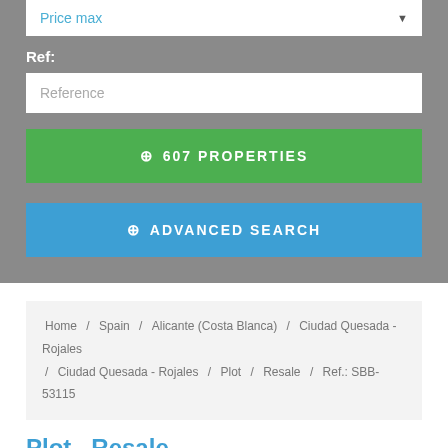Price max
Ref:
Reference
🔍 607 PROPERTIES
🔍 ADVANCED SEARCH
Home / Spain / Alicante (Costa Blanca) / Ciudad Quesada - Rojales / Ciudad Quesada - Rojales / Plot / Resale / Ref.: SBB-53115
Plot · Resale
Alicante (Costa Blanca) · Ciudad Quesada - Rojales